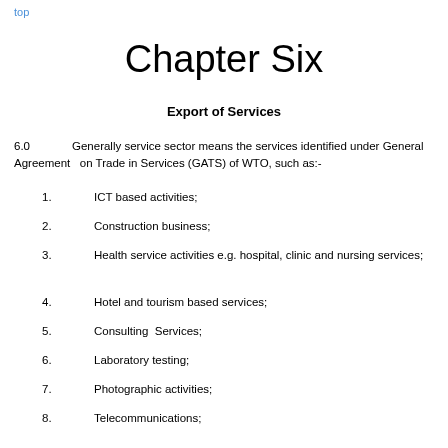top
Chapter Six
Export of Services
6.0        Generally service sector means the services identified under General Agreement   on Trade in Services (GATS) of WTO, such as:-
1.    ICT based activities;
2.    Construction business;
3.    Health service activities e.g. hospital, clinic and nursing services;
4.    Hotel and tourism based services;
5.    Consulting  Services;
6.    Laboratory testing;
7.    Photographic activities;
8.    Telecommunications;